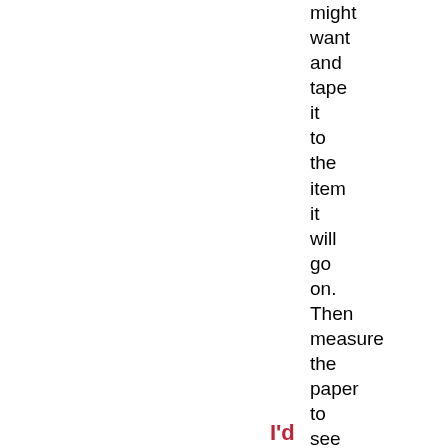might want and tape it to the item it will go on. Then measure the paper to see what size it should be.
I'd